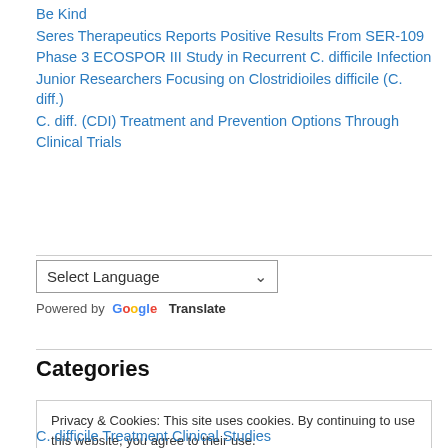Be Kind
Seres Therapeutics Reports Positive Results From SER-109 Phase 3 ECOSPOR III Study in Recurrent C. difficile Infection
Junior Researchers Focusing on Clostridioiles difficile (C. diff.)
C. diff. (CDI) Treatment and Prevention Options Through Clinical Trials
Select Language / Powered by Google Translate
Categories
Privacy & Cookies: This site uses cookies. By continuing to use this website, you agree to their use. To find out more, including how to control cookies, see here: Our Cookie Policy
Close and accept
C. difficile Treatment Clinical Studies